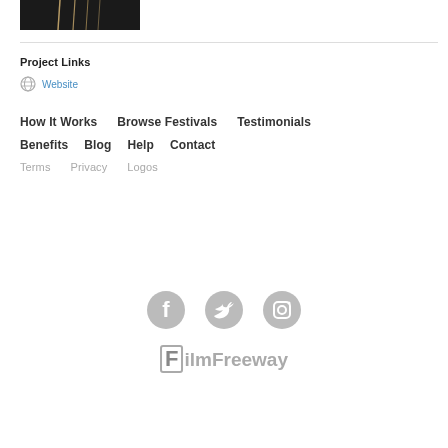[Figure (photo): Dark photograph thumbnail, appears to show strings or lines against a dark background]
Project Links
Website
How It Works   Browse Festivals   Testimonials   Benefits   Blog   Help   Contact   Terms   Privacy   Logos
[Figure (logo): FilmFreeway logo with social media icons (Facebook, Twitter, Instagram)]